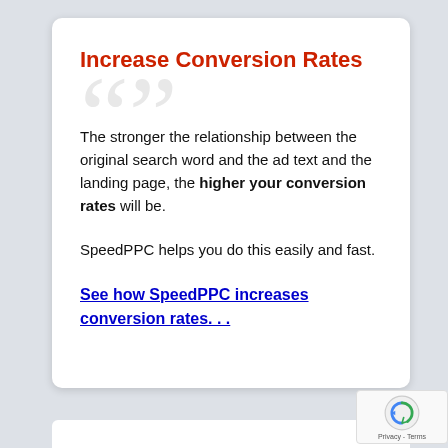Increase Conversion Rates
The stronger the relationship between the original search word and the ad text and the landing page, the higher your conversion rates will be.
SpeedPPC helps you do this easily and fast.
See how SpeedPPC increases conversion rates. . .